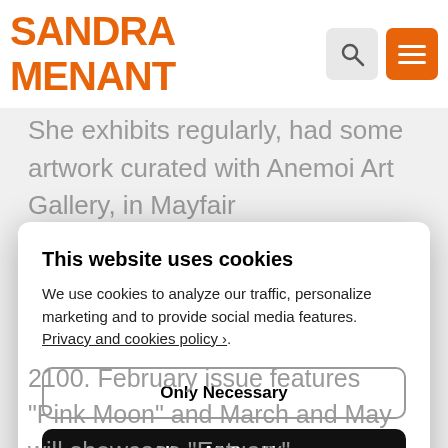SANDRA MENANT
She exhibits regularly, had some artwork curated with Anemoi Art Gallery, in Mayfair
This website uses cookies
We use cookies to analyze our traffic, personalize marketing and to provide social media features. Privacy and cookies policy ›.
Only Necessary
Allow All Cookies
Configure Settings ›
2100. February issue features “Pink Moon” and March and May will showcase “Estuary”.